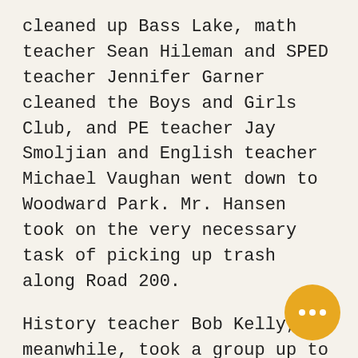cleaned up Bass Lake, math teacher Sean Hileman and SPED teacher Jennifer Garner cleaned the Boys and Girls Club, and PE teacher Jay Smoljian and English teacher Michael Vaughan went down to Woodward Park. Mr. Hansen took on the very necessary task of picking up trash along Road 200.
History teacher Bob Kelly, meanwhile, took a group up to North Fork on a Forest Service project. This project included maintaining the Cedar Interpretive Trail at the Bass Lake Ranger District Head Quarters of the Sierra National Forest. English teacher Michael Land worked at the Poverty House, SPED teacher Elizabeth